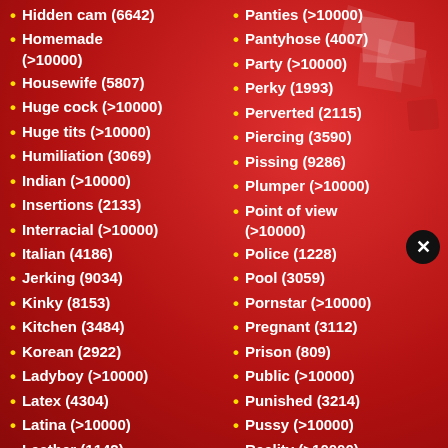Hidden cam (6642)
Homemade (>10000)
Housewife (5807)
Huge cock (>10000)
Huge tits (>10000)
Humiliation (3069)
Indian (>10000)
Insertions (2133)
Interracial (>10000)
Italian (4186)
Jerking (9034)
Kinky (8153)
Kitchen (3484)
Korean (2922)
Ladyboy (>10000)
Latex (4304)
Latina (>10000)
Leather (1142)
Lesbian (>10000)
Panties (>10000)
Pantyhose (4007)
Party (>10000)
Perky (1993)
Perverted (2115)
Piercing (3590)
Pissing (9286)
Plumper (>10000)
Point of view (>10000)
Police (1228)
Pool (3059)
Pornstar (>10000)
Pregnant (3112)
Prison (809)
Public (>10000)
Punished (3214)
Pussy (>10000)
Reality (>10000)
Redhead (>10000)